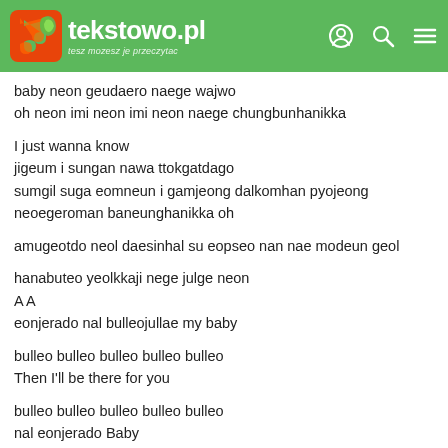tekstowo.pl - tesz mozesz je przeczytac
baby neon geudaero naege wajwo
oh neon imi neon imi neon naege chungbunhanikka
I just wanna know
jigeum i sungan nawa ttokgatdago
sumgil suga eomneun i gamjeong dalkomhan pyojeong
neoegeroman baneunghanikka oh
amugeotdo neol daesinhal su eopseo nan nae modeun geol
hanabuteo yeolkkaji nege julge neon
A A
eonjerado nal bulleojullae my baby
bulleo bulleo bulleo bulleo bulleo
Then I'll be there for you
bulleo bulleo bulleo bulleo bulleo
nal eonjerado Baby
(neon nal bulleo bulleo)